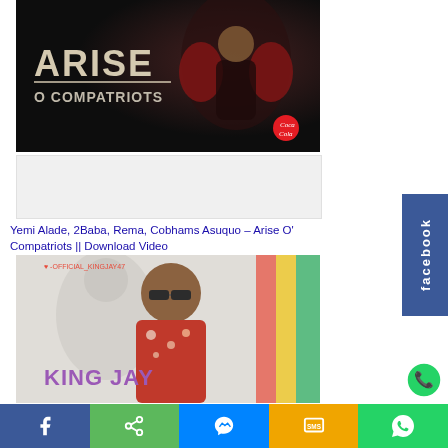[Figure (photo): Arise O Compatriots music promotion image with female singer in red dress against dark background, text ARISE O COMPATRIOTS with Coca-Cola logo]
[Figure (photo): Advertisement banner placeholder, light grey background]
Yemi Alade, 2Baba, Rema, Cobhams Asuquo – Arise O' Compatriots || Download Video
[Figure (photo): King Jay music artist cover image, young man with sunglasses in floral shirt, text KING JAY in purple, watermark -OFFICIAL_KINGJAY47]
[Figure (other): Facebook sidebar button in blue with facebook text rotated vertically]
[Figure (other): Bottom sharing bar with Facebook, Share, Messenger, SMS, WhatsApp icons]